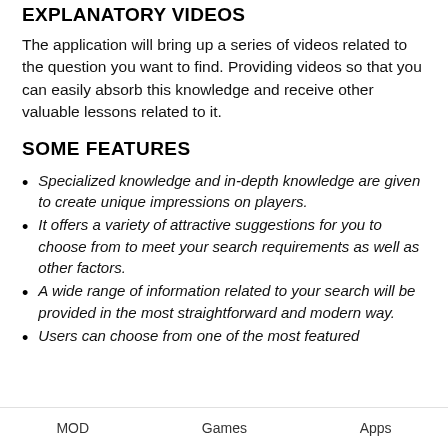EXPLANATORY VIDEOS
The application will bring up a series of videos related to the question you want to find. Providing videos so that you can easily absorb this knowledge and receive other valuable lessons related to it.
SOME FEATURES
Specialized knowledge and in-depth knowledge are given to create unique impressions on players.
It offers a variety of attractive suggestions for you to choose from to meet your search requirements as well as other factors.
A wide range of information related to your search will be provided in the most straightforward and modern way.
Users can choose from one of the most featured
MOD    Games    Apps